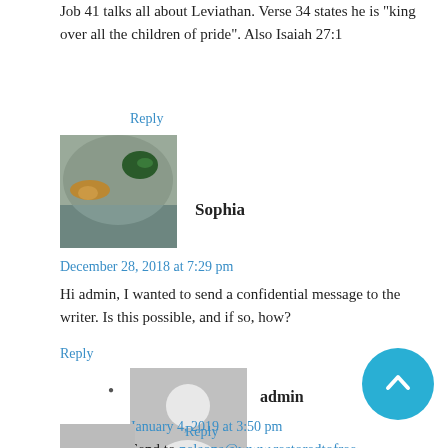Job 41 talks all about Leviathan. Verse 34 states he is “king over all the children of pride”. Also Isaiah 27:1
Reply
[Figure (photo): Duck/bird avatar photo for commenter]
Sophia
December 28, 2018 at 7:29 pm
Hi admin, I wanted to send a confidential message to the writer. Is this possible, and if so, how?
Reply
[Figure (illustration): Generic user avatar placeholder (grey silhouette)]
admin
January 4, 2019 at 3:50 pm
Send to nelsons@www.restoredtofreedom.co
Reply